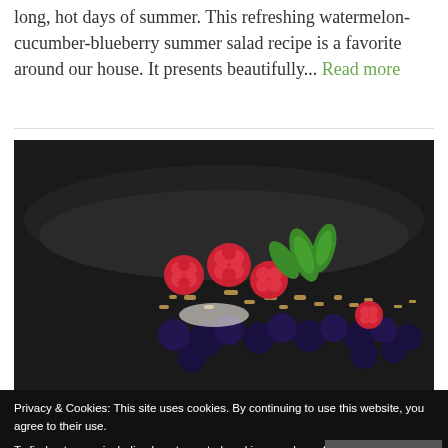long, hot days of summer. This refreshing watermelon-cucumber-blueberry summer salad recipe is a favorite around our house. It presents beautifully... Read more
[Figure (photo): A dark bowl filled with raspberries, blueberries, granola, and mint leaves on a dark background — a fruit and granola dessert or breakfast dish.]
Privacy & Cookies: This site uses cookies. By continuing to use this website, you agree to their use. To find out more, including how to control cookies, see here: Cookie Policy
[Figure (photo): Close-up of granola, blueberries and white items on a dark background — continuation of the fruit dish photo.]